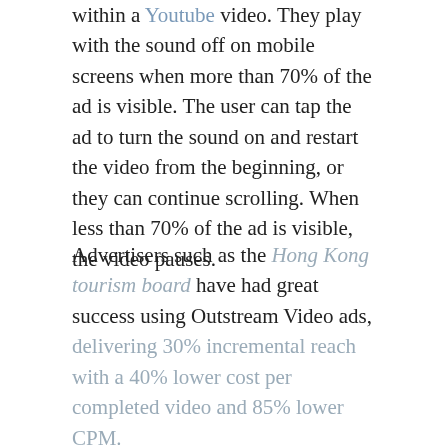within a YouTube video. They play with the sound off on mobile screens when more than 70% of the ad is visible. The user can tap the ad to turn the sound on and restart the video from the beginning, or they can continue scrolling. When less than 70% of the ad is visible, the video pauses.
Advertisers such as the Hong Kong tourism board have had great success using Outstream Video ads, delivering 30% incremental reach with a 40% lower cost per completed video and 85% lower CPM.
REWARDED ADS PAY OFF
When it comes to monetizing a mobile game through advertising, rewarded ads remain at the top of the food chain. A recent survey of app publishers asked what their most successful